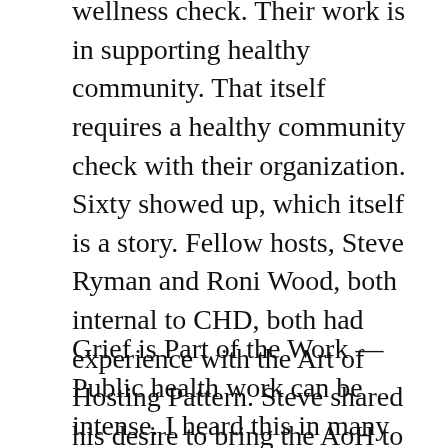wellness check. Their work is in supporting healthy community. That itself requires a healthy community check with their organization. Sixty showed up, which itself is a story. Fellow hosts, Steve Ryman and Roni Wood, both internal to CHD, both had experience with the Art of Hosting Pattern. Steve shared his desire to bring the AoH to CHD wondering if he might get 20 people to show up. There was an energy of yes in this that Steve and Roni helped respond to so that many could be in this wellness check.
Grief is Part of the Work — Public health work can be intense. I heard this in many stories. There is a grief that shows up that can get embodied in the individuals and in the system. I've heard Meg Wheatley often say, "if you want a living system to be healthy, connect it to more of itself." Sometimes it feels like we overlook the grief that we carry. I don't sense it is therapy that is needed – this is not my focus. But simple witnessing of the realness of